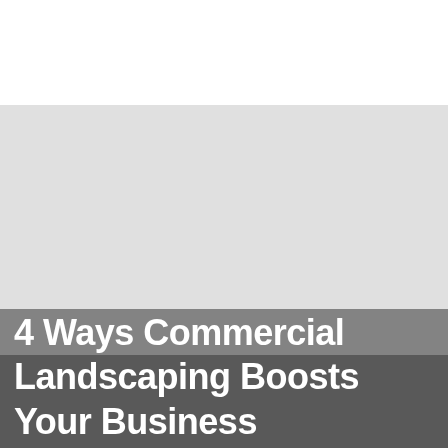[Figure (logo): Walnut Ridge Landscape & Design logo — green square with stylized WR letters and leaf motif, company name below in dark gray]
[Figure (photo): Large hero/banner image area (gray placeholder) — commercial landscaping scene]
4 Ways Commercial Landscaping Boosts Your Business